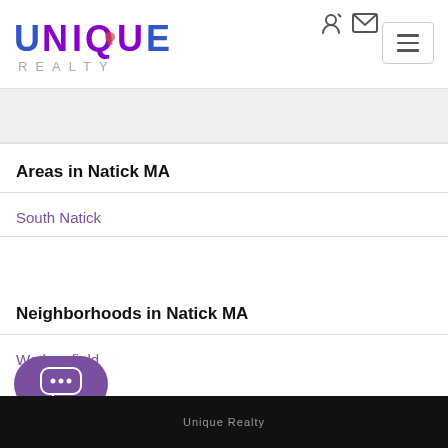[Figure (logo): Unique Realty logo with colorful text and lock icon]
Areas in Natick MA
South Natick
Neighborhoods in Natick MA
Wethersfield
Unique Realty